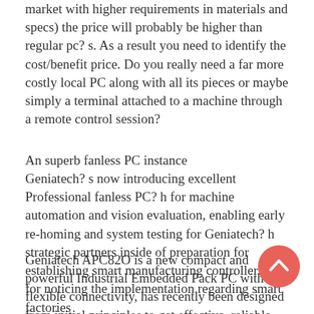market with higher requirements in materials and specs) the price will probably be higher than regular pc? s. As a result you need to identify the cost/benefit price. Do you really need a far more costly local PC along with all its pieces or maybe simply a terminal attached to a machine through a remote control session?
An superb fanless PC instance
Geniatech? s now introducing excellent Professional fanless PC? h for machine automation and vision evaluation, enabling early re-homing and system testing for Geniatech? h strategic partners inside of preparation for establishing smart manufacturing controllers and for noticing the implementation regarding smart factories
Geniatech APC82O is a new compact and powerful Industrial Embedded Pack PC with flexible connectivity, has recently been designed from initial principles to get effective, reliable and scalable, making it preferably suited to space-constrained,
[Figure (illustration): A coral/salmon colored circular scroll-to-top button with a white upward-pointing chevron arrow, positioned in the lower right area of the page.]